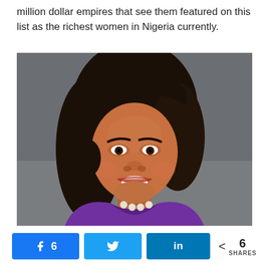million dollar empires that see them featured on this list as the richest women in Nigeria currently.
[Figure (photo): Professional portrait of a Nigerian businesswoman smiling, wearing a purple blazer and pearl necklace, with dark hair, photographed against a grey background.]
Facebook 6  Twitter  LinkedIn  < 6 SHARES